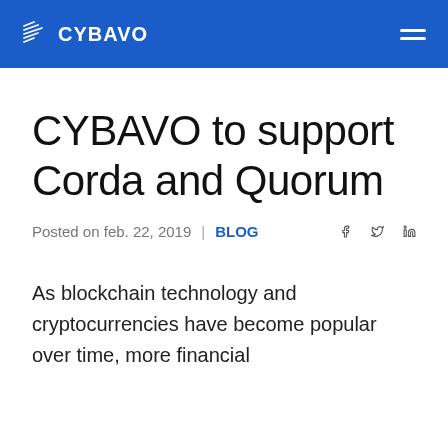CYBAVO
CYBAVO to support Corda and Quorum
Posted on feb. 22, 2019  |  BLOG
As blockchain technology and cryptocurrencies have become popular over time, more financial